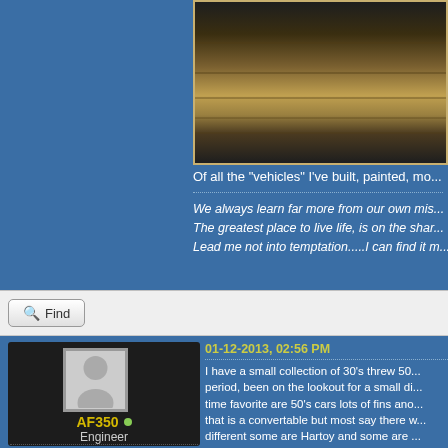[Figure (photo): Wooden slats or boards photographed at an angle, showing wood grain texture in brown/tan tones against dark background]
Of all the "vehicles" I've built, painted, mo...
We always learn far more from our own mis...
The greatest place to live life, is on the shar...
Lead me not into temptation.....I can find it m...
Find
01-12-2013, 02:56 PM
[Figure (photo): Default user avatar/silhouette placeholder image - gray person silhouette on light background]
AF350
Engineer
Posts: 1,475
Threads: 44
Joined: Dec 2008
I have a small collection of 30's threw 50... period, been on the lookout for a small di... time favorite are 50's cars lots of fins ano... that is a convertable but most say there w... different some are Hartoy and some are ...